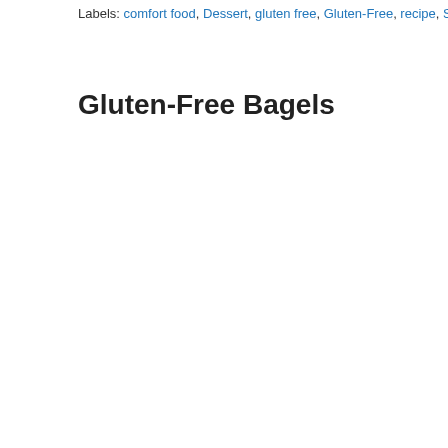Labels: comfort food, Dessert, gluten free, Gluten-Free, recipe, Side Dish
Gluten-Free Bagels
[Figure (photo): Close-up photograph of gluten-free bagels on a wooden cooling rack. In the foreground is a large, rustic-looking bagel with a visible hole, golden-brown crust with a cracked surface texture. In the background are additional bagels on a dark wood rack. A cyan/teal bar appears at the very top of the image.]